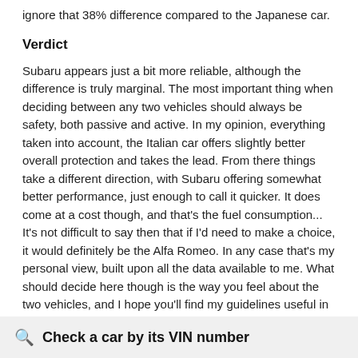ignore that 38% difference compared to the Japanese car.
Verdict
Subaru appears just a bit more reliable, although the difference is truly marginal. The most important thing when deciding between any two vehicles should always be safety, both passive and active. In my opinion, everything taken into account, the Italian car offers slightly better overall protection and takes the lead. From there things take a different direction, with Subaru offering somewhat better performance, just enough to call it quicker. It does come at a cost though, and that's the fuel consumption... It's not difficult to say then that if I'd need to make a choice, it would definitely be the Alfa Romeo. In any case that's my personal view, built upon all the data available to me. What should decide here though is the way you feel about the two vehicles, and I hope you'll find my guidelines useful in the process. I suggest you spend two more minutes in order to find out which car, based on your needs and budget, would be picked by the virtual adviser™, among more than 12.000 different ones in our database.
Check a car by its VIN number